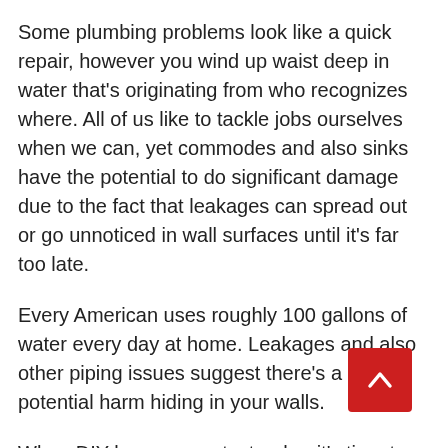Some plumbing problems look like a quick repair, however you wind up waist deep in water that's originating from who recognizes where. All of us like to tackle jobs ourselves when we can, yet commodes and also sinks have the potential to do significant damage due to the fact that leakages can spread out or go unnoticed in wall surfaces until it's far too late.
Every American uses roughly 100 gallons of water every day at home. Leakages and also other piping issues suggest there's a lot of potential harm hiding in your walls.
When DIY becomes catastrophe, it's time to call a plumbing professional.